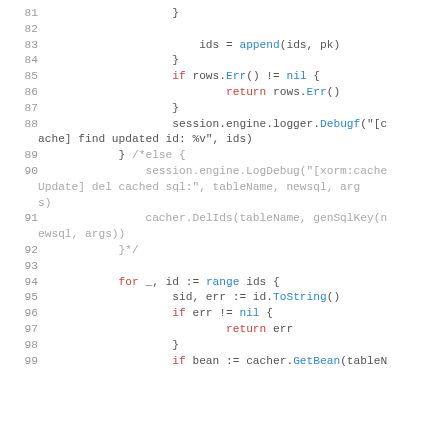[Figure (screenshot): Source code listing in Go language, lines 81-99, showing cache update logic with syntax highlighting. Keywords in red, method names in blue, comments in gray.]